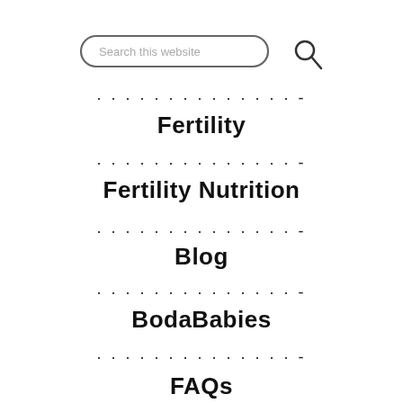[Figure (screenshot): Search bar with placeholder text 'Search this website' and a magnifying glass icon]
Fertility
Fertility Nutrition
Blog
BodaBabies
FAQs